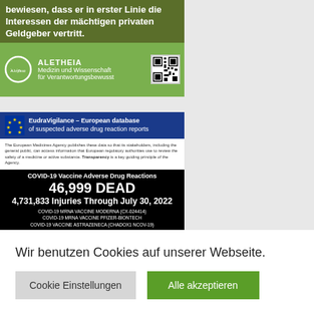[Figure (screenshot): Green block with German text 'bewiesen, dass er in erster Linie die Interessen der mächtigen privaten Geldgeber vertritt.' and Aletheia logo with QR code on a lighter green footer.]
[Figure (screenshot): EudraVigilance screenshot showing 'COVID-19 Vaccine Adverse Drug Reactions 46,999 DEAD 4,731,833 Injuries Through July 30, 2022' with list of vaccines on black background.]
Wir benutzen Cookies auf unserer Webseite.
Cookie Einstellungen
Alle akzeptieren